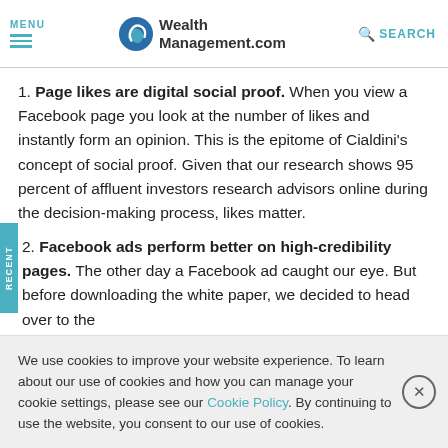MENU | WealthManagement.com | SEARCH
1. Page likes are digital social proof. When you view a Facebook page you look at the number of likes and instantly form an opinion. This is the epitome of Cialdini's concept of social proof. Given that our research shows 95 percent of affluent investors research advisors online during the decision-making process, likes matter.
2. Facebook ads perform better on high-credibility pages. The other day a Facebook ad caught our eye. But before downloading the white paper, we decided to head over to the
We use cookies to improve your website experience. To learn about our use of cookies and how you can manage your cookie settings, please see our Cookie Policy. By continuing to use the website, you consent to our use of cookies.